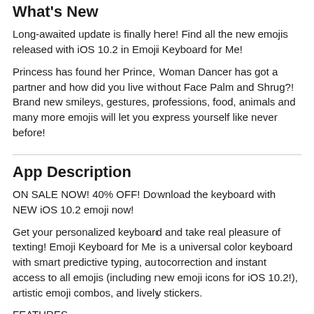What's New
Long-awaited update is finally here! Find all the new emojis released with iOS 10.2 in Emoji Keyboard for Me!
Princess has found her Prince, Woman Dancer has got a partner and how did you live without Face Palm and Shrug?! Brand new smileys, gestures, professions, food, animals and many more emojis will let you express yourself like never before!
App Description
ON SALE NOW! 40% OFF! Download the keyboard with NEW iOS 10.2 emoji now!
Get your personalized keyboard and take real pleasure of texting! Emoji Keyboard for Me is a universal color keyboard with smart predictive typing, autocorrection and instant access to all emojis (including new emoji icons for iOS 10.2!), artistic emoji combos, and lively stickers.
FEATURES
• Awesome Keyboard Themes — choose a style (Tranquility,